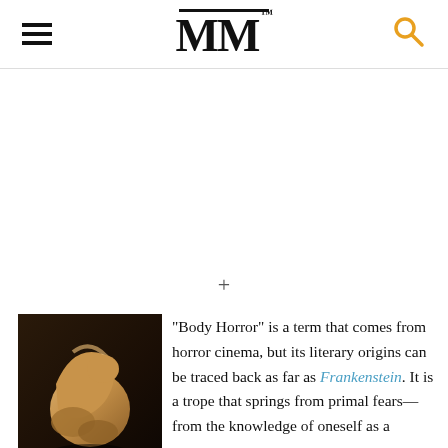MM
+
[Figure (illustration): Book cover of Frankenstein by Mary Shelley, Penguin Classics edition, showing a crouched human figure, with black spine showing 'MARY SHELLEY FRANKENSTEIN']
“Body Horror” is a term that comes from horror cinema, but its literary origins can be traced back as far as Frankenstein. It is a trope that springs from primal fears—from the knowledge of oneself as a